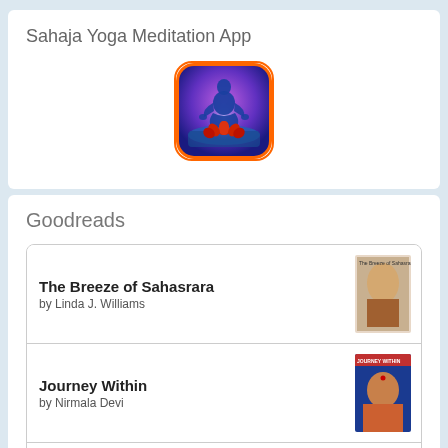Sahaja Yoga Meditation App
[Figure (logo): App icon for Sahaja Yoga Meditation: rounded square with orange border, purple/blue gradient background, blue silhouette of meditating person in lotus position above a red lotus flower]
Goodreads
The Breeze of Sahasrara by Linda J. Williams
Journey Within by Nirmala Devi
Seek and Ascend by Nirmala Devi